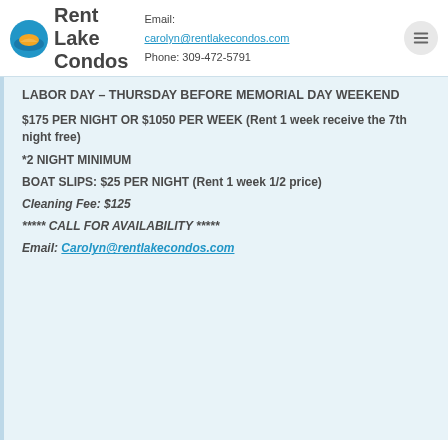Rent Lake Condos — Email: carolyn@rentlakecondos.com Phone: 309-472-5791
LABOR DAY – THURSDAY BEFORE MEMORIAL DAY WEEKEND
$175 PER NIGHT OR $1050 PER WEEK (Rent 1 week receive the 7th night free)
*2 NIGHT MINIMUM
BOAT SLIPS: $25 PER NIGHT (Rent 1 week 1/2 price)
Cleaning Fee: $125
***** CALL FOR AVAILABILITY *****
Email: Carolyn@rentlakecondos.com